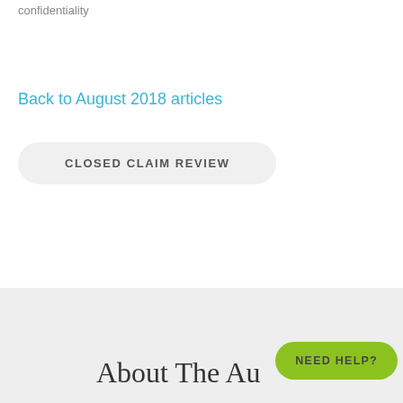confidentiality
Back to August 2018 articles
CLOSED CLAIM REVIEW
About The Au
NEED HELP?